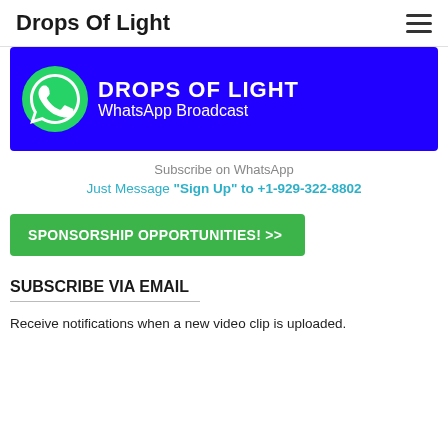Drops Of Light
[Figure (illustration): WhatsApp Broadcast banner with blue background, WhatsApp logo on left, text 'DROPS OF LIGHT WhatsApp Broadcast' on right in white.]
Subscribe on WhatsApp
Just Message "Sign Up" to +1-929-322-8802
SPONSORSHIP OPPORTUNITIES! >>
SUBSCRIBE VIA EMAIL
Receive notifications when a new video clip is uploaded.